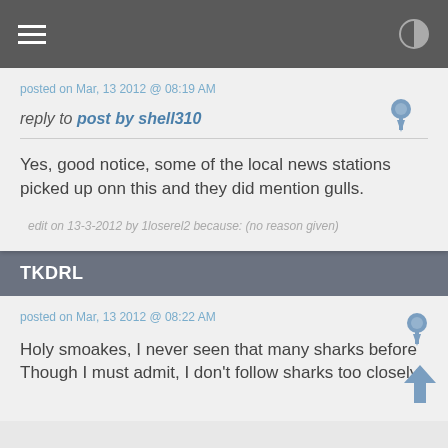[hamburger menu] [contrast icon]
posted on Mar, 13 2012 @ 08:19 AM
reply to post by shell310
Yes, good notice, some of the local news stations picked up onn this and they did mention gulls.
edit on 13-3-2012 by 1loserel2 because: (no reason given)
TKDRL
posted on Mar, 13 2012 @ 08:22 AM
Holy smoakes, I never seen that many sharks before Though I must admit, I don't follow sharks too closely.